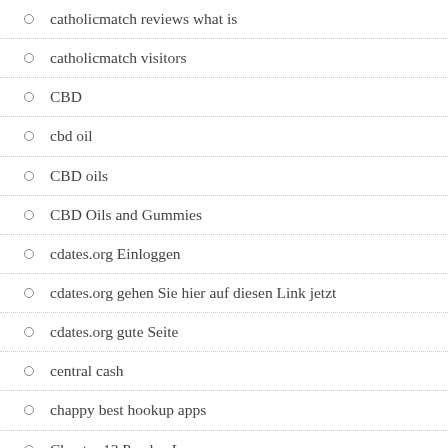catholicmatch reviews what is
catholicmatch visitors
CBD
cbd oil
CBD oils
CBD Oils and Gummies
cdates.org Einloggen
cdates.org gehen Sie hier auf diesen Link jetzt
cdates.org gute Seite
central cash
chappy best hookup apps
Chapter 13 Payday Loans